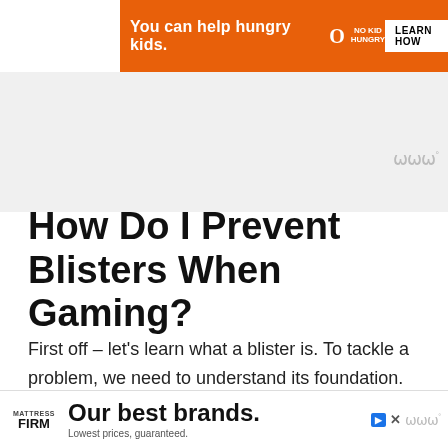[Figure (infographic): Orange banner advertisement: 'You can help hungry kids. NO KID HUNGRY LEARN HOW' with close button]
How Do I Prevent Blisters When Gaming?
First off – let's learn what a blister is. To tackle a problem, we need to understand its foundation. According to medicalnewstoday.com,
A blister is a pocket of fluid between the upper layers of skin. The most
[Figure (infographic): Bottom banner advertisement: Mattress Firm logo with text 'Our best brands. Lowest prices, guaranteed.']